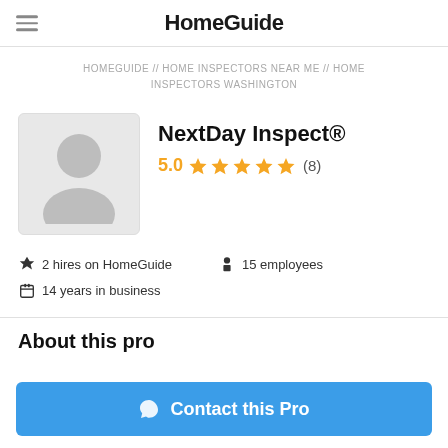HomeGuide
HOMEGUIDE // HOME INSPECTORS NEAR ME // HOME INSPECTORS WASHINGTON
NextDay Inspect®
5.0 ★★★★★ (8)
2 hires on HomeGuide   15 employees   14 years in business
About this pro
Contact this Pro